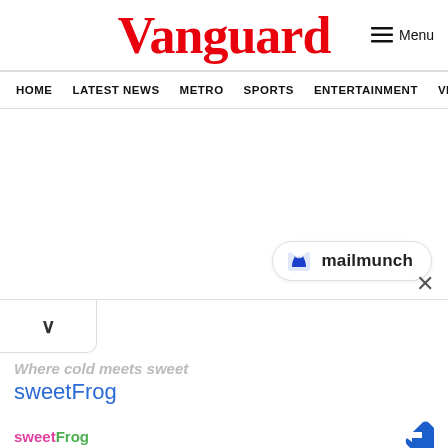Vanguard
≡ Menu
HOME  LATEST NEWS  METRO  SPORTS  ENTERTAINMENT  VIDEOS
[Figure (logo): Mailmunch branding badge with flame logo and text 'mailmunch']
×
∨
Where cold meets sweet
sweetFrog
[Figure (logo): sweetFrog logo in pink and green text]
[Figure (other): Blue diamond navigation badge with right arrow]
Ashburn